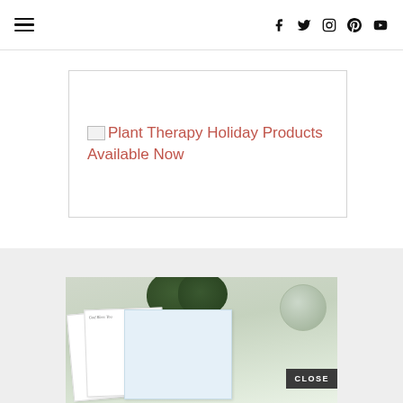≡  f  t  ⊙  ⓟ  ▶
[Figure (illustration): Broken image placeholder with link text: Plant Therapy Holiday Products Available Now in salmon/coral color inside a bordered box]
[Figure (photo): Photo showing plant greeting cards with botanical illustrations, a dark green round leafy plant, and a glass terrarium with an air plant on a white surface]